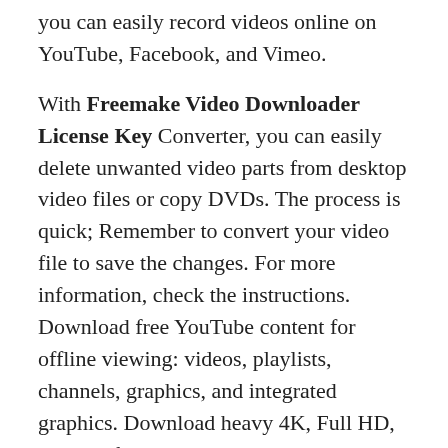you can easily record videos online on YouTube, Facebook, and Vimeo.
With Freemake Video Downloader License Key Converter, you can easily delete unwanted video parts from desktop video files or copy DVDs. The process is quick; Remember to convert your video file to save the changes. For more information, check the instructions. Download free YouTube content for offline viewing: videos, playlists, channels, graphics, and integrated graphics. Download heavy 4K, Full HD, and HD files quickly and easily. YouTube Video Downloader shows you a file size before saving it.
If you want to watch YouTube videos offline on your Apple gadget, you can download them and convert them to iTunes. The software creates iOS compatible videos and automatically sends the converted files to iTunes. Read our guide to continue this task. Convert between the two most popular multimedia formats with